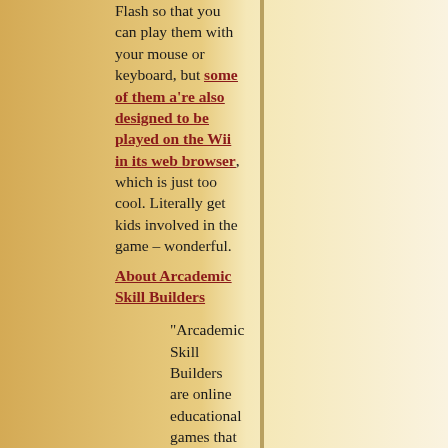Flash so that you can play them with your mouse or keyboard, but some of them a're also designed to be played on the Wii in its web browser, which is just too cool. Literally get kids involved in the game – wonderful.
About Arcademic Skill Builders
“Arcademic Skill Builders are online educational games that offer a powerful approach to learning basic math, language